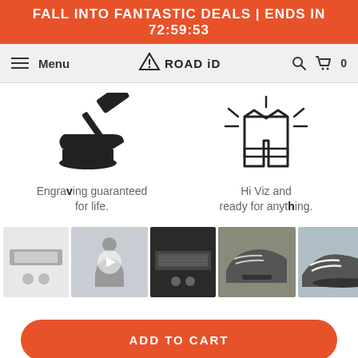FALL INTO FANTASTIC DEALS | ENDS IN 72:59:53
[Figure (screenshot): Navigation bar with hamburger menu (Menu), ROAD iD logo, search icon, and cart icon]
[Figure (illustration): Anvil with hammer icon illustrating engraving guarantee for life]
Engraving guaranteed for life.
[Figure (illustration): Safety vest / Hi-Viz vest icon with shine lines]
Hi Viz and ready for anything.
[Figure (photo): Product image gallery showing 5 thumbnails: product flat lay, person holding product (video), product close-up, shoe with product on laces, sneaker close-up]
ADD TO CART
Order Today, Get it by Fri, Sep 9. Choose Expedited shipping at Checkout.